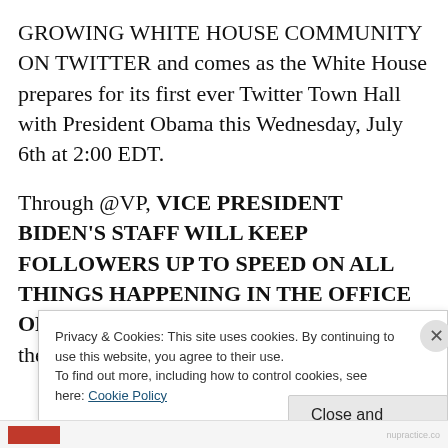GROWING WHITE HOUSE COMMUNITY ON TWITTER and comes as the White House prepares for its first ever Twitter Town Hall with President Obama this Wednesday, July 6th at 2:00 EDT.
Through @VP, VICE PRESIDENT BIDEN'S STAFF WILL KEEP FOLLOWERS UP TO SPEED ON ALL THINGS HAPPENING IN THE OFFICE OF THE VICE PRESIDENT (OVP) – from the West Wing, to the Eisenhower
Privacy & Cookies: This site uses cookies. By continuing to use this website, you agree to their use.
To find out more, including how to control cookies, see here: Cookie Policy
Close and accept